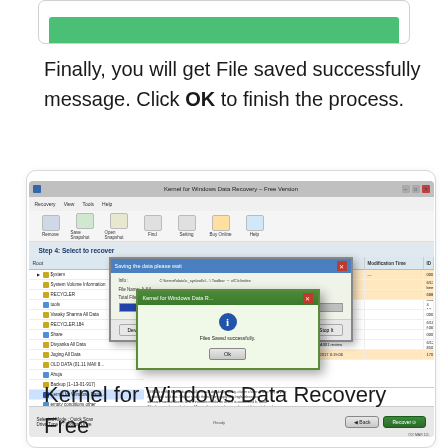[Figure (screenshot): Partial screenshot of Kernel for Windows Data Recovery software at the top of the page, showing a green progress bar area.]
Finally, you will get File saved successfully message. Click OK to finish the process.
[Figure (screenshot): Screenshot of Kernel for Windows Data Recovery - Free Version software showing Step 4: Select to recover, with a file tree on the left, file list on the right with orange highlighted rows, a 'Saving the data please wait' progress dialog, and a success popup dialog saying 'Files Saved successfully' with an OK button.]
Kernel for Windows Data Recovery Free Version is recommended to...